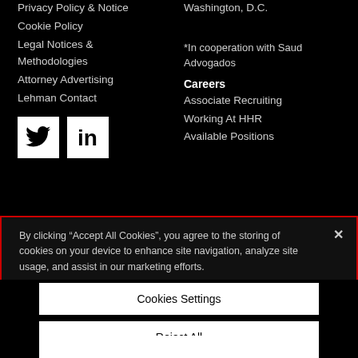Privacy Policy & Notice
Cookie Policy
Legal Notices & Methodologies
Attorney Advertising
Lehman Contact
Washington, D.C.
*In cooperation with Saud Advogados
Careers
Associate Recruiting
Working At HHR
Available Positions
[Figure (logo): Twitter bird icon (white on black square) and LinkedIn 'in' logo (white on black square)]
By clicking “Accept All Cookies”, you agree to the storing of cookies on your device to enhance site navigation, analyze site usage, and assist in our marketing efforts.
Cookies Settings
Reject All